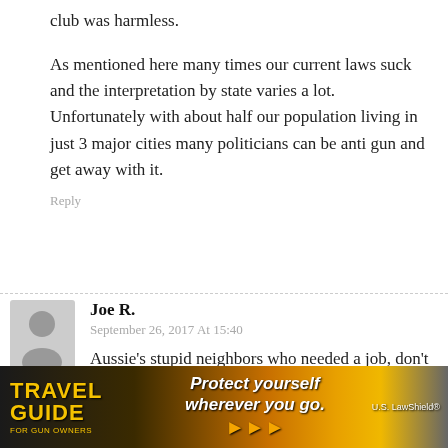club was harmless.
As mentioned here many times our current laws suck and the interpretation by state varies a lot. Unfortunately with about half our population living in just 3 major cities many politicians can be anti gun and get away with it.
Reply
Joe R.
September 26, 2017 At 15:40
Aussie's stupid neighbors who needed a job, don't trust the average populace and need to keep them bent over a log in order to maintain their continuity of tyranny.
[Figure (infographic): Travel Guide For Gun Owners advertisement banner with text 'Protect yourself wherever you go.' and US LawShield branding on dark background.]